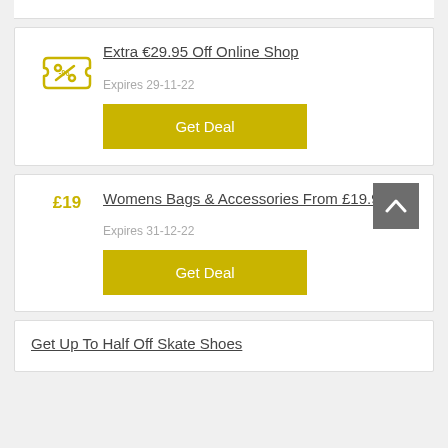Extra €29.95 Off Online Shop
Expires 29-11-22
Get Deal
Womens Bags & Accessories From £19.93
Expires 31-12-22
Get Deal
Get Up To Half Off Skate Shoes